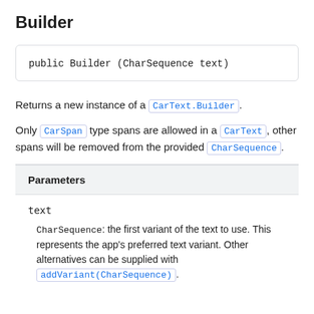Builder
public Builder (CharSequence text)
Returns a new instance of a CarText.Builder.
Only CarSpan type spans are allowed in a CarText, other spans will be removed from the provided CharSequence.
| Parameters |
| --- |
| text | CharSequence: the first variant of the text to use. This represents the app's preferred text variant. Other alternatives can be supplied with addVariant(CharSequence). |